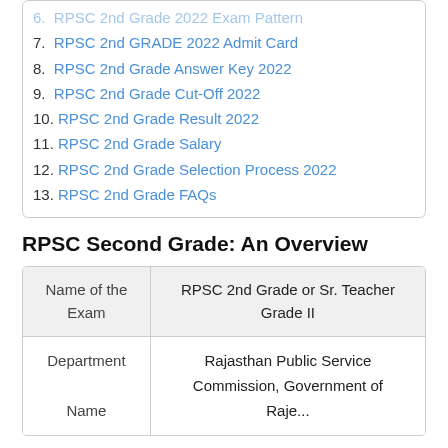6. RPSC 2nd Grade 2022 Exam Pattern
7. RPSC 2nd GRADE 2022 Admit Card
8. RPSC 2nd Grade Answer Key 2022
9. RPSC 2nd Grade Cut-Off 2022
10. RPSC 2nd Grade Result 2022
11. RPSC 2nd Grade Salary
12. RPSC 2nd Grade Selection Process 2022
13. RPSC 2nd Grade FAQs
RPSC Second Grade: An Overview
| Name of the Exam | RPSC 2nd Grade or Sr. Teacher Grade II |
| --- | --- |
| Department Name | Rajasthan Public Service Commission, Government of Rajasthan |